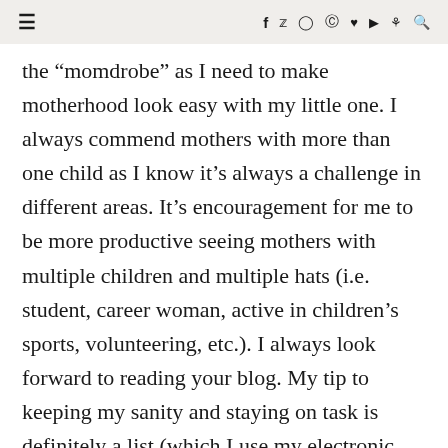≡  f  y  ◎  ⊕  ♥  ▶  ᵴ  🔍
the “momdrobe” as I need to make motherhood look easy with my little one. I always commend mothers with more than one child as I know it’s always a challenge in different areas. It’s encouragement for me to be more productive seeing mothers with multiple children and multiple hats (i.e. student, career woman, active in children’s sports, volunteering, etc.). I always look forward to reading your blog. My tip to keeping my sanity and staying on task is definitely a list (which I use my electronic memo pad on my phone) and my Google calendar, without those 2, I’m not sure I